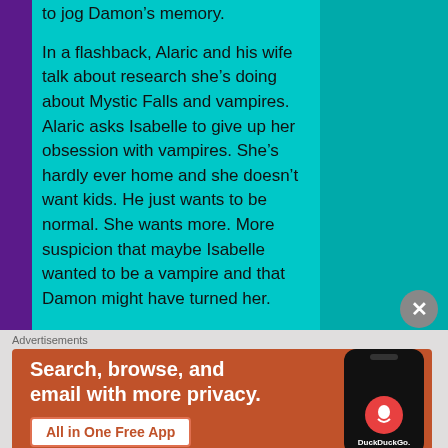to jog Damon's memory.
In a flashback, Alaric and his wife talk about research she's doing about Mystic Falls and vampires. Alaric asks Isabelle to give up her obsession with vampires. She's hardly ever home and she doesn't want kids. He just wants to be normal. She wants more. More suspicion that maybe Isabelle wanted to be a vampire and that Damon might have turned her.
Alaric and Damon drink next to each other at the Grill because they're both depressed. When Alaric leaves, the sheriff comes by and asks Damon to be a Bachelor at the raffle. Damon agrees and asks for information about Alaric. She
Advertisements
[Figure (other): DuckDuckGo advertisement banner. Orange background with text 'Search, browse, and email with more privacy. All in One Free App' and a phone image showing DuckDuckGo logo.]